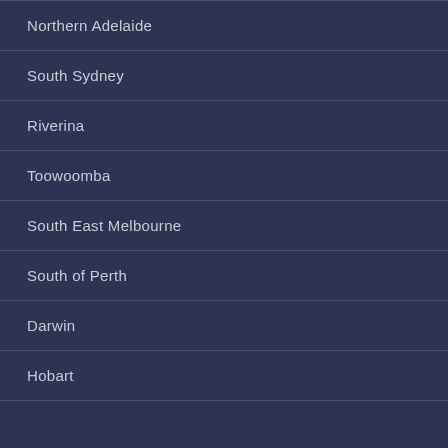Northern Adelaide
South Sydney
Riverina
Toowoomba
South East Melbourne
South of Perth
Darwin
Hobart